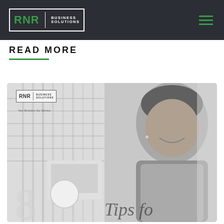RNR BUSINESS SOLUTIONS
READ MORE
[Figure (photo): Black and white photo of a smiling woman, with a monitor and office background. An article card preview showing the RNR Business Solutions logo, tagline 'Your Business Our Service', and partial text 'Tips for' with a large number '8' in the foreground.]